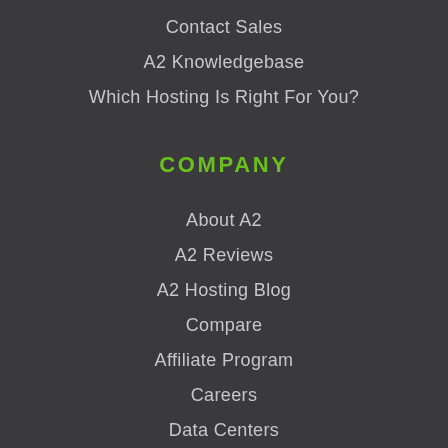Contact Sales
A2 Knowledgebase
Which Hosting Is Right For You?
COMPANY
About A2
A2 Reviews
A2 Hosting Blog
Compare
Affiliate Program
Careers
Data Centers